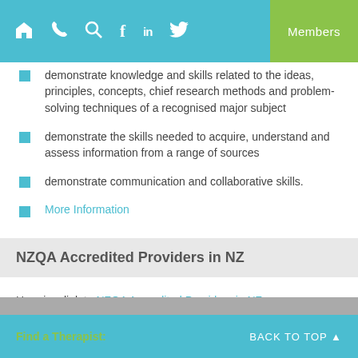Members
demonstrate knowledge and skills related to the ideas, principles, concepts, chief research methods and problem-solving techniques of a recognised major subject
demonstrate the skills needed to acquire, understand and assess information from a range of sources
demonstrate communication and collaborative skills.
More Information
NZQA Accredited Providers in NZ
Here is a link to NZQA Accredited Providers in NZ
Find a Therapist: BACK TO TOP ▲